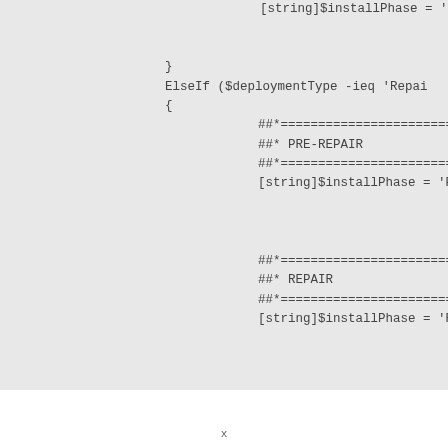[string]$installPhase = 'Po...
}
ElseIf ($deploymentType -ieq 'Repai...
{
    ##*========================
    ##* PRE-REPAIR
    ##*========================
    [string]$installPhase = 'Pr...


    ##*========================
    ##* REPAIR
    ##*========================
    [string]$installPhase = 'Re...
x